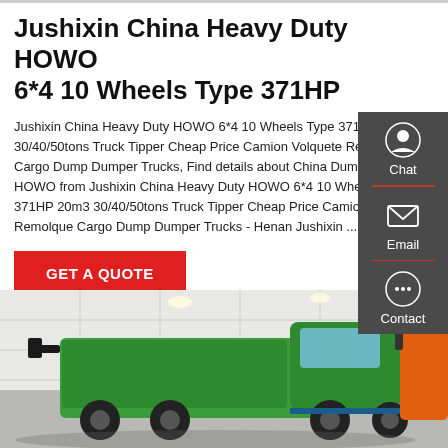Jushixin China Heavy Duty HOWO 6*4 10 Wheels Type 371HP
Jushixin China Heavy Duty HOWO 6*4 10 Wheels Type 371HP 20m3 30/40/50tons Truck Tipper Cheap Price Camion Volquete Remolque Cargo Dump Dumper Trucks, Find details about China Dump Truck, HOWO from Jushixin China Heavy Duty HOWO 6*4 10 Wheels Type 371HP 20m3 30/40/50tons Truck Tipper Cheap Price Camion Volquete Remolque Cargo Dump Dumper Trucks - Henan Jushixin ...
GET A QUOTE
[Figure (photo): Green and orange heavy duty dump trucks (HOWO style) on display in an exhibition hall with white tiled walls and recessed lighting.]